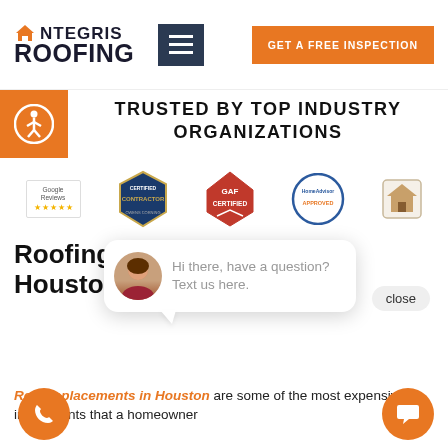[Figure (logo): Integris Roofing logo with orange house icon, dark blue text INTEGRIS ROOFING]
[Figure (other): Hamburger menu button (dark navy square with three white lines)]
[Figure (other): GET A FREE INSPECTION orange button]
[Figure (other): Orange accessibility icon badge (wheelchair person in circle)]
TRUSTED BY TOP INDUSTRY ORGANIZATIONS
[Figure (other): Row of certification/trust badges: Google Reviews stars badge, Certified Contractor diamond badge, GAF Certified red diamond badge, HomeAdvisor Approved circular badge, and a small house/pile badge]
close
Roofing Re... Houston
[Figure (photo): Chat bubble popup with woman avatar photo. Text: Hi there, have a question? Text us here.]
Roof replacements in Houston are some of the most expensive investments that a homeowner